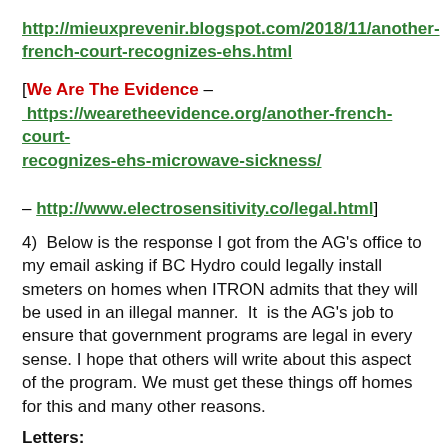http://mieuxprevenir.blogspot.com/2018/11/another-french-court-recognizes-ehs.html
[We Are The Evidence – https://wearetheevidence.org/another-french-court-recognizes-ehs-microwave-sickness/ – http://www.electrosensitivity.co/legal.html]
4)  Below is the response I got from the AG's office to my email asking if BC Hydro could legally install smeters on homes when ITRON admits that they will be used in an illegal manner.  It  is the AG's job to ensure that government programs are legal in every sense. I hope that others will write about this aspect of the program. We must get these things off homes for this and many other reasons.
Letters: